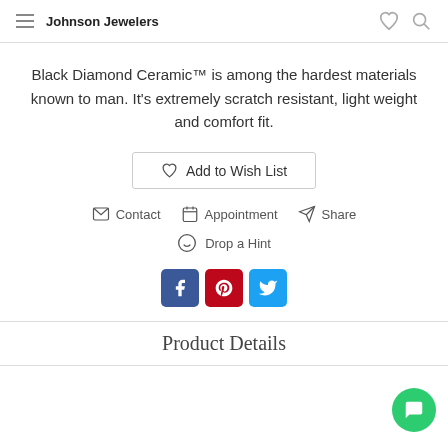Johnson Jewelers
Black Diamond Ceramic™ is among the hardest materials known to man. It's extremely scratch resistant, light weight and comfort fit.
Add to Wish List
Contact   Appointment   Share
Drop a Hint
[Figure (other): Social media icons: Facebook, Pinterest, Twitter]
Product Details